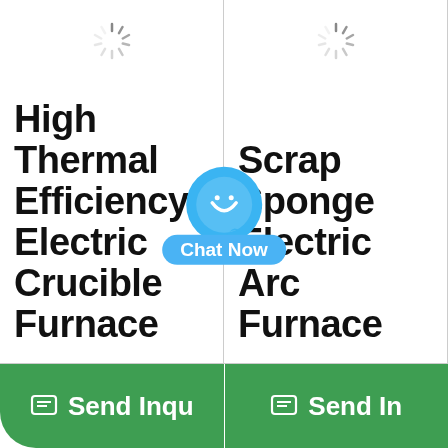[Figure (screenshot): Loading spinner icon top center of left column]
[Figure (screenshot): Loading spinner icon top center of right column]
High Thermal Efficiency Electric Crucible Furnace
Scrap Sponge Electric Arc Furnace
[Figure (illustration): Chat Now overlay button with blue chat bubble icon and 'Chat Now' label]
Send Inquiry
Send Inquiry